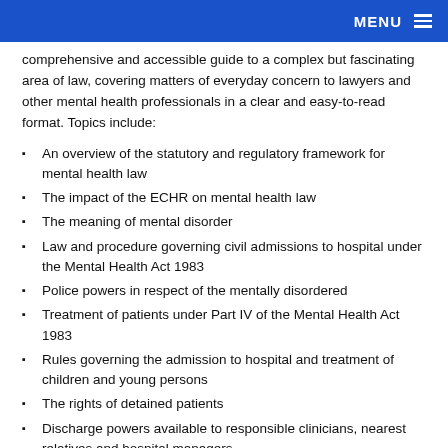MENU
comprehensive and accessible guide to a complex but fascinating area of law, covering matters of everyday concern to lawyers and other mental health professionals in a clear and easy-to-read format. Topics include:
An overview of the statutory and regulatory framework for mental health law
The impact of the ECHR on mental health law
The meaning of mental disorder
Law and procedure governing civil admissions to hospital under the Mental Health Act 1983
Police powers in respect of the mentally disordered
Treatment of patients under Part IV of the Mental Health Act 1983
Rules governing the admission to hospital and treatment of children and young persons
The rights of detained patients
Discharge powers available to responsible clinicians, nearest relatives and hospital managers